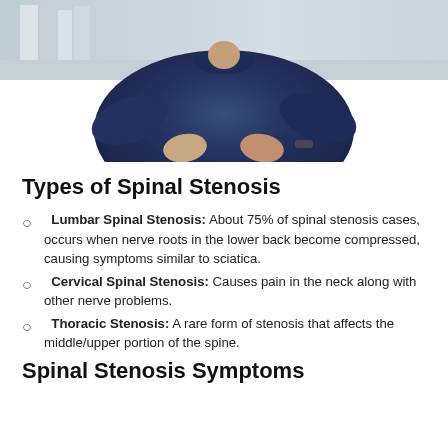[Figure (photo): A person in a dark blue t-shirt viewed from behind, hands on lower back suggesting back pain, standing in a bright indoor environment.]
Types of Spinal Stenosis
Lumbar Spinal Stenosis: About 75% of spinal stenosis cases, occurs when nerve roots in the lower back become compressed, causing symptoms similar to sciatica.
Cervical Spinal Stenosis: Causes pain in the neck along with other nerve problems.
Thoracic Stenosis: A rare form of stenosis that affects the middle/upper portion of the spine.
Spinal Stenosis Symptoms